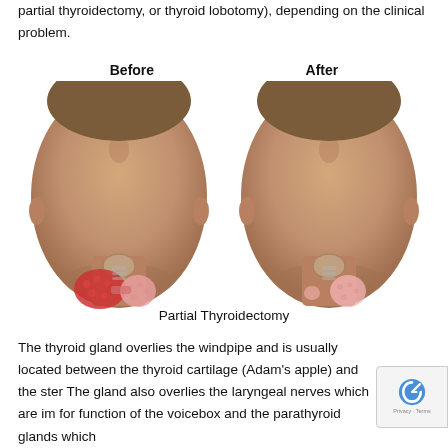partial thyroidectomy, or thyroid lobotomy), depending on the clinical problem.
[Figure (illustration): Side-by-side medical illustration showing Before and After views of a patient's neck in upward-tilted position. The Before image shows an enlarged thyroid gland with a reddish-pink highlighted left lobe. The After image shows a reduced/partial thyroid gland after partial thyroidectomy, with normal pink coloring.]
Partial Thyroidectomy
The thyroid gland overlies the windpipe and is usually located between the thyroid cartilage (Adam's apple) and the ster... The gland also overlies the laryngeal nerves which are im... for function of the voicebox and the parathyroid glands which